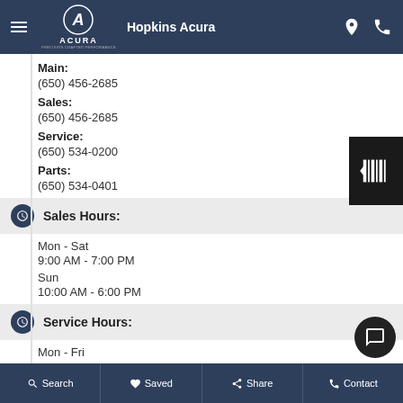Hopkins Acura
Main:
(650) 456-2685
Sales:
(650) 456-2685
Service:
(650) 534-0200
Parts:
(650) 534-0401
Sales Hours:
Mon - Sat
9:00 AM - 7:00 PM
Sun
10:00 AM - 6:00 PM
Service Hours:
Mon - Fri
Search  Saved  Share  Contact